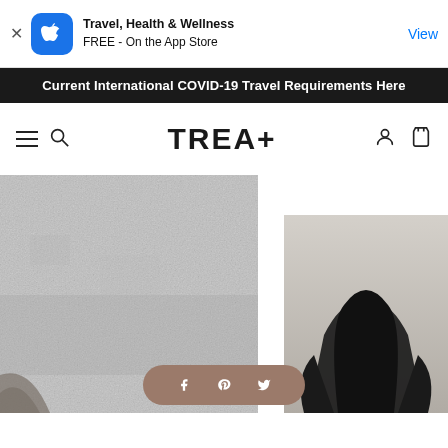[Figure (screenshot): App store banner with Apple icon, text 'Travel, Health & Wellness FREE - On the App Store' and 'View' link button]
Current International COVID-19 Travel Requirements Here
TREA+
[Figure (photo): Two partial product/fashion photos side by side: left shows a textured gray concrete background, right shows a person in black clothing against a neutral background. Social share bar with Facebook, Pinterest, Twitter icons overlaid at bottom center.]